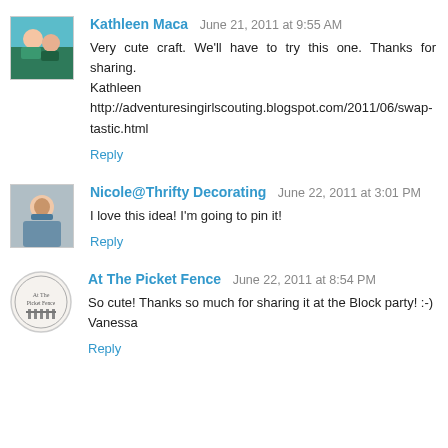[Figure (photo): Avatar photo of Kathleen Maca showing two people outdoors]
Kathleen Maca  June 21, 2011 at 9:55 AM
Very cute craft. We'll have to try this one. Thanks for sharing.
Kathleen
http://adventuresingirlscouting.blogspot.com/2011/06/swap-tastic.html
Reply
[Figure (photo): Avatar photo of Nicole, a woman in a blue jacket]
Nicole@Thrifty Decorating  June 22, 2011 at 3:01 PM
I love this idea! I'm going to pin it!
Reply
[Figure (logo): At The Picket Fence circular logo]
At The Picket Fence  June 22, 2011 at 8:54 PM
So cute! Thanks so much for sharing it at the Block party! :-)
Vanessa
Reply